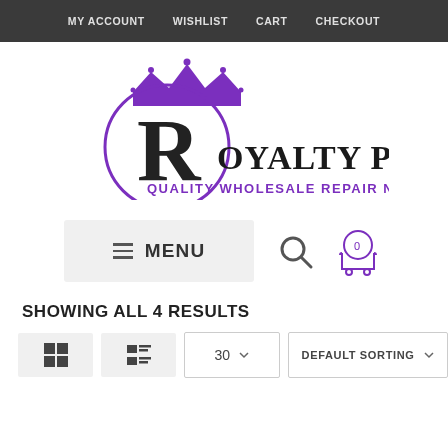MY ACCOUNT   WISHLIST   CART   CHECKOUT
[Figure (logo): Royalty Parts logo with purple crown above a circle containing a large R, next to text 'ROYALTY PARTS' in dark serif font and 'QUALITY WHOLESALE REPAIR NEEDS' in purple below]
[Figure (screenshot): Navigation menu bar with hamburger MENU button, search icon, and cart icon showing 0 items]
SHOWING ALL 4 RESULTS
[Figure (screenshot): Product listing controls: grid view icon, list view icon, per-page selector showing 30, and Default Sorting dropdown]